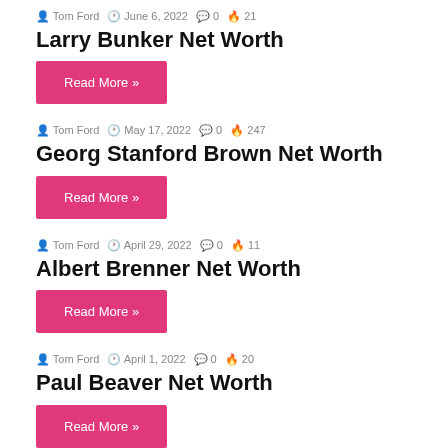Tom Ford  June 6, 2022  0  21
Larry Bunker Net Worth
Read More »
Tom Ford  May 17, 2022  0  247
Georg Stanford Brown Net Worth
Read More »
Tom Ford  April 29, 2022  0  11
Albert Brenner Net Worth
Read More »
Tom Ford  April 1, 2022  0  20
Paul Beaver Net Worth
Read More »